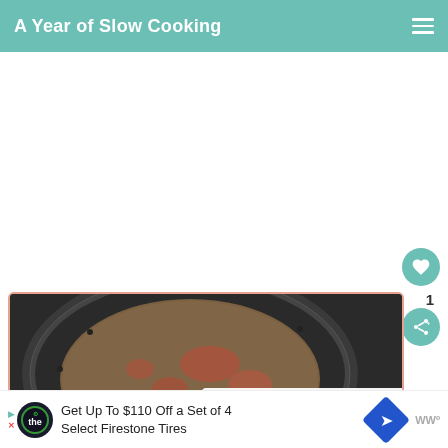A Year of Slow Cooking
[Figure (photo): A bowl of soup or stew with tomatoes and a lime wedge, served on a decorative plate, viewed from above. Partially visible.]
WHAT'S NEXT → CrockPot Gingerbread...
Get Up To $110 Off a Set of 4 Select Firestone Tires